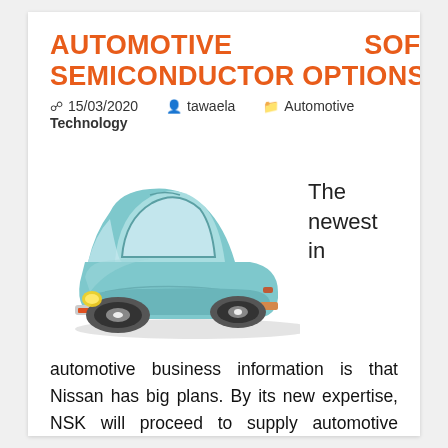AUTOMOTIVE SOFTWARE SEMICONDUCTOR OPTIONS
15/03/2020   tawaela   Automotive Technology
[Figure (illustration): Cartoon-style illustration of a teal/blue VW Beetle-like car viewed from a three-quarter rear angle, with yellow headlights and black wheels.]
The newest in
automotive business information is that Nissan has big plans. By its new expertise, NSK will proceed to supply automotive merchandise that are sort to the global